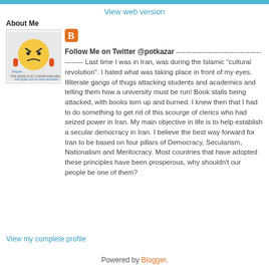View web version
About Me
[Figure (illustration): Tinypic yellow angry smiley face cartoon image placeholder]
[Figure (logo): Blogger orange B logo icon]
Follow Me on Twitter @potkazar ---------------------------- ---------------- Last time I was in Iran, was during the Islamic "cultural revolution". I hated what was taking place in front of my eyes. Illiterate gangs of thugs attacking students and academics and telling them how a university must be run! Book stalls being attacked, with books torn up and burned. I knew then that I had to do something to get rid of this scourge of clerics who had seized power in Iran. My main objective in life is to help establish a secular democracy in Iran. I believe the best way forward for Iran to be based on four pillars of Democracy, Secularism, Nationalism and Meritocracy. Most countries that have adopted these principles have been prosperous, why shouldn't our people be one of them?
View my complete profile
Powered by Blogger.